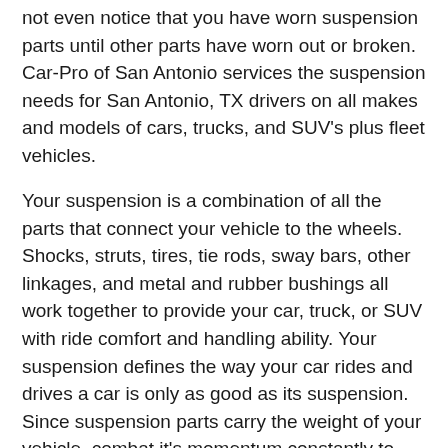not even notice that you have worn suspension parts until other parts have worn out or broken. Car-Pro of San Antonio services the suspension needs for San Antonio, TX drivers on all makes and models of cars, trucks, and SUV's plus fleet vehicles.
Your suspension is a combination of all the parts that connect your vehicle to the wheels. Shocks, struts, tires, tie rods, sway bars, other linkages, and metal and rubber bushings all work together to provide your car, truck, or SUV with ride comfort and handling ability. Your suspension defines the way your car rides and drives a car is only as good as its suspension. Since suspension parts carry the weight of your vehicle, combat it's momentum constantly to keep it stable and regularly experience motion: these parts are under a lot of stress, all the time even when your car is just sitting there.
If you notice your ride isn't that comfortable, faulty suspension parts are to blame. Squeaking and groaning